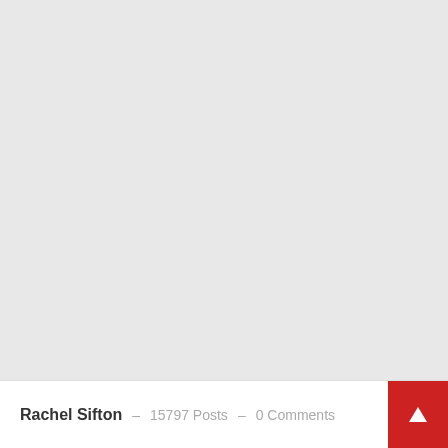[Figure (screenshot): Large light gray empty area occupying the upper portion of the page]
Rachel Sifton — 15797 Posts — 0 Comments